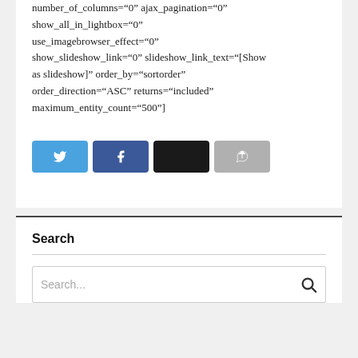number_of_columns="0" ajax_pagination="0" show_all_in_lightbox="0" use_imagebrowser_effect="0" show_slideshow_link="0" slideshow_link_text="[Show as slideshow]" order_by="sortorder" order_direction="ASC" returns="included" maximum_entity_count="500"]
[Figure (infographic): Four social share buttons: Twitter (light blue), Facebook (dark blue), a black button, and a gray share/reply button]
Search
Search...